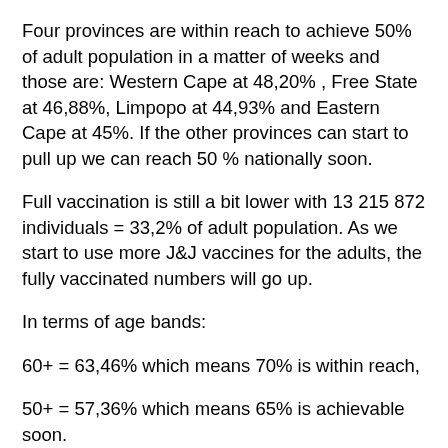Four provinces are within reach to achieve 50% of adult population in a matter of weeks and those are: Western Cape at 48,20% , Free State at 46,88%, Limpopo at 44,93% and Eastern Cape at 45%. If the other provinces can start to pull up we can reach 50 % nationally soon.
Full vaccination is still a bit lower with 13 215 872 individuals = 33,2% of adult population. As we start to use more J&J vaccines for the adults, the fully vaccinated numbers will go up.
In terms of age bands:
60+ = 63,46% which means 70% is within reach,
50+ = 57,36% which means 65% is achievable soon.